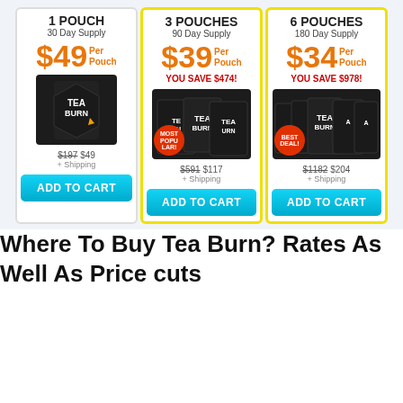| 1 POUCH | 3 POUCHES | 6 POUCHES |
| --- | --- | --- |
| 30 Day Supply | 90 Day Supply | 180 Day Supply |
| $49 Per Pouch | $39 Per Pouch | $34 Per Pouch |
|  | YOU SAVE $474! | YOU SAVE $978! |
| $197 $49 + Shipping | $591 $117 + Shipping | $1182 $204 + Shipping |
| ADD TO CART | ADD TO CART | ADD TO CART |
Where To Buy Tea Burn? Rates As Well As Price cuts